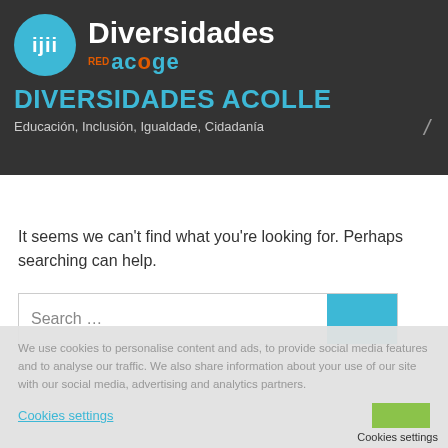[Figure (logo): Diversidades Acolle website header with logo: teal circle with 'ijii' text, 'Diversidades' in white, 'red acoge' in teal/orange]
DIVERSIDADES ACOLLE
Educación, Inclusión, Igualdade, Cidadanía
It seems we can't find what you're looking for. Perhaps searching can help.
Search …
We use cookies to personalise content and ads, to provide social media features and to analyse our traffic. We also share information about your use of our site with our social media, advertising and analytics partners.
Cookies settings | Cookies settings